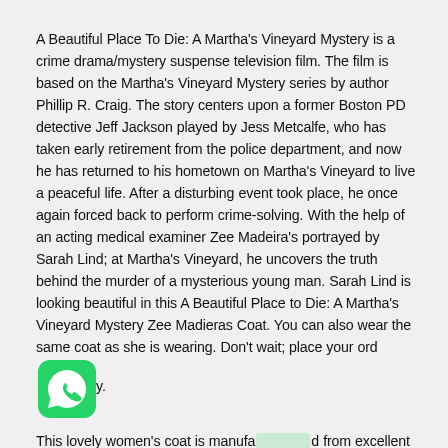A Beautiful Place To Die: A Martha's Vineyard Mystery is a crime drama/mystery suspense television film. The film is based on the Martha's Vineyard Mystery series by author Phillip R. Craig. The story centers upon a former Boston PD detective Jeff Jackson played by Jess Metcalfe, who has taken early retirement from the police department, and now he has returned to his hometown on Martha's Vineyard to live a peaceful life. After a disturbing event took place, he once again forced back to perform crime-solving. With the help of an acting medical examiner Zee Madeira's portrayed by Sarah Lind; at Martha's Vineyard, he uncovers the truth behind the murder of a mysterious young man. Sarah Lind is looking beautiful in this A Beautiful Place to Die: A Martha's Vineyard Mystery Zee Madieras Coat. You can also wear the same coat as she is wearing. Don't wait; place your order [WhatsApp icon].
This lovely women's coat is manufactured from excellent quality and has been tried with soft pieces of fabric...